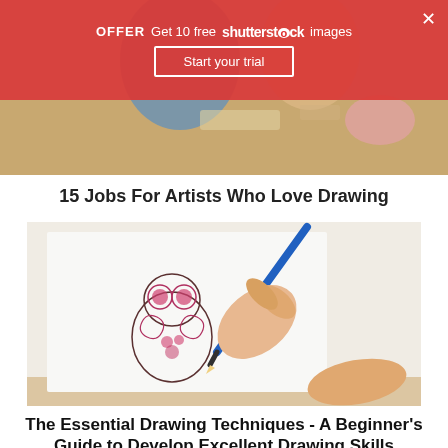[Figure (photo): A Shutterstock promotional banner overlay (red/semi-transparent) with offer text and a 'Start your trial' button, over a background photo of people drawing/painting at a table]
15 Jobs For Artists Who Love Drawing
[Figure (photo): Close-up photo of a hand holding a pencil drawing an ornate owl illustration on white paper]
The Essential Drawing Techniques - A Beginner's Guide to Develop Excellent Drawing Skills